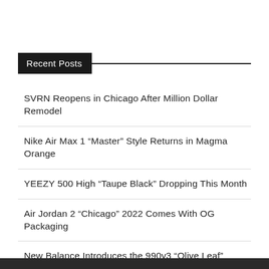Recent Posts
SVRN Reopens in Chicago After Million Dollar Remodel
Nike Air Max 1 "Master" Style Returns in Magma Orange
YEEZY 500 High “Taupe Black” Dropping This Month
Air Jordan 2 “Chicago” 2022 Comes With OG Packaging
New Balance Introduces the 990v3 “Olive Leaf”